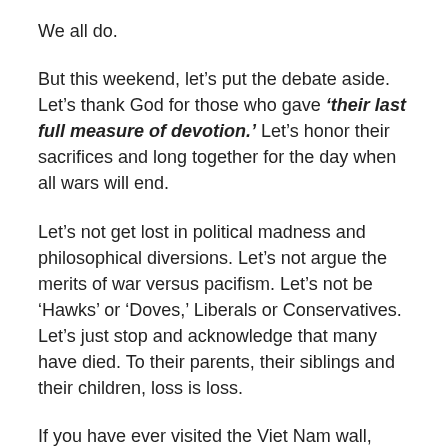We all do.
But this weekend, let’s put the debate aside. Let’s thank God for those who gave ‘their last full measure of devotion.’ Let’s honor their sacrifices and long together for the day when all wars will end.
Let’s not get lost in political madness and philosophical diversions. Let’s not argue the merits of war versus pacifism. Let’s not be ‘Hawks’ or ‘Doves,’ Liberals or Conservatives. Let’s just stop and acknowledge that many have died. To their parents, their siblings and their children, loss is loss.
If you have ever visited the Viet Nam wall, then you know that one can hardly do so without discovering elderly parents or aging spouses and children – in tears – revisiting their grief and loss over the sacrifice of their